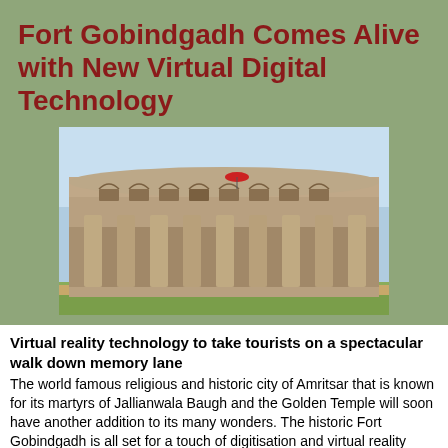Fort Gobindgadh Comes Alive with New Virtual Digital Technology
[Figure (photo): Photograph of Fort Gobindgadh showing the stone walls, arched windows, buttresses, and a red umbrella visible on top]
Virtual reality technology to take tourists on a spectacular walk down memory lane
The world famous religious and historic city of Amritsar that is known for its martyrs of Jallianwala Baugh and the Golden Temple will soon have another addition to its many wonders. The historic Fort Gobindgadh is all set for a touch of digitisation and virtual reality technology which will bring alive its rich heritage and tales of bravery. This venture is the undertaking of Actress and director Deepa Sahi through her company Maya Digital in a 15 year public private partnership with the Government of Punjab.